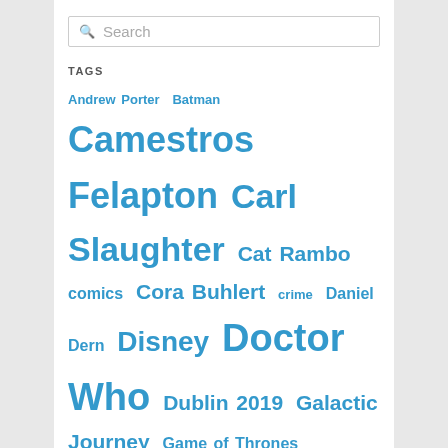TAGS
Andrew Porter Batman Camestros Felapton Carl Slaughter Cat Rambo comics Cora Buhlert crime Daniel Dern Disney Doctor Who Dublin 2019 Galactic Journey Game of Thrones George R. R. Martin Harlan Ellison Harry Potter Horror Writers Association Hugo Awards J.R.R. Tolkien James Bacon James Davis Nicoll James H. Burns John Hertz John Scalzi